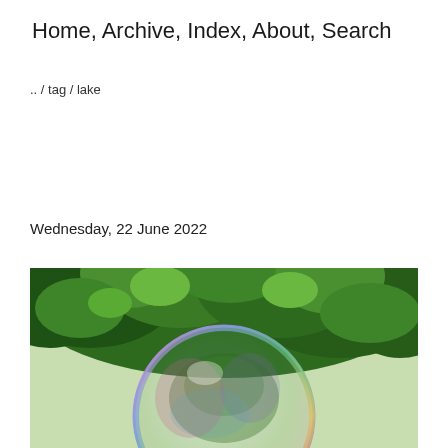Home, Archive, Index, About, Search
.. / tag / lake
Wednesday, 22 June 2022
[Figure (photo): A large iridescent soap bubble floating in front of lush green trees. The bubble reflects the trees and surroundings in rainbow-like colours of pink, purple, blue and green.]